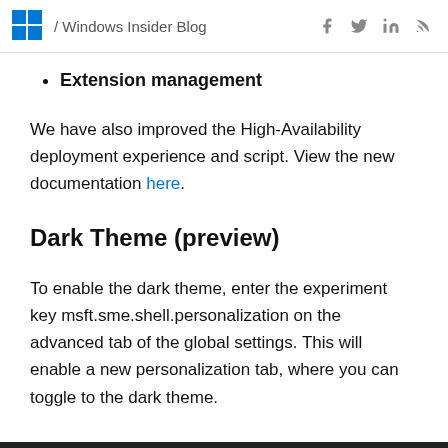/ Windows Insider Blog
Extension management
We have also improved the High-Availability deployment experience and script. View the new documentation here.
Dark Theme (preview)
To enable the dark theme, enter the experiment key msft.sme.shell.personalization on the advanced tab of the global settings. This will enable a new personalization tab, where you can toggle to the dark theme.